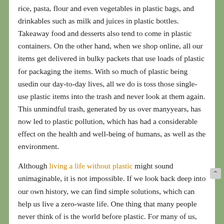rice, pasta, flour and even vegetables in plastic bags, and drinkables such as milk and juices in plastic bottles. Takeaway food and desserts also tend to come in plastic containers. On the other hand, when we shop online, all our items get delivered in bulky packets that use loads of plastic for packaging the items. With so much of plastic being usedin our day-to-day lives, all we do is toss those single-use plastic items into the trash and never look at them again. This unmindful trash, generated by us over manyyears, has now led to plastic pollution, which has had a considerable effect on the health and well-being of humans, as well as the environment.

Although living a life without plastic might sound unimaginable, it is not impossible. If we look back deep into our own history, we can find simple solutions, which can help us live a zero-waste life. One thing that many people never think of is the world before plastic. For many of us, plastic has existed forforever. While plastic was actually invented in the early 19th century, it was only processed to make disposable plastic items untilthe end of the 1950s. It was only after the 1960s thatthe mass production of...